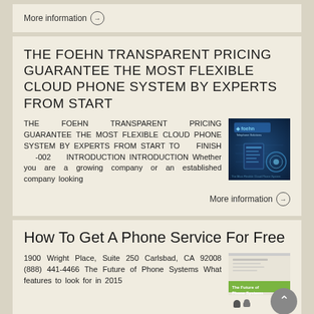More information →
THE FOEHN TRANSPARENT PRICING GUARANTEE THE MOST FLEXIBLE CLOUD PHONE SYSTEM BY EXPERTS FROM START
THE FOEHN TRANSPARENT PRICING GUARANTEE THE MOST FLEXIBLE CLOUD PHONE SYSTEM BY EXPERTS FROM START TO FINISH -002 INTRODUCTION INTRODUCTION Whether you are a growing company or an established company looking
[Figure (photo): Foehn branded brochure cover with dark blue technology background]
More information →
How To Get A Phone Service For Free
1900 Wright Place, Suite 250 Carlsbad, CA 92008 (888) 441-4466 The Future of Phone Systems What features to look for in 2015
[Figure (photo): The Future of Phone Systems brochure with scroll-to-top button overlay]